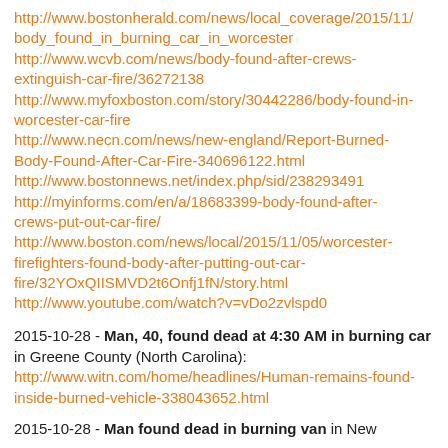http://www.bostonherald.com/news/local_coverage/2015/11/body_found_in_burning_car_in_worcester
http://www.wcvb.com/news/body-found-after-crews-extinguish-car-fire/36272138
http://www.myfoxboston.com/story/30442286/body-found-in-worcester-car-fire
http://www.necn.com/news/new-england/Report-Burned-Body-Found-After-Car-Fire-340696122.html
http://www.bostonnews.net/index.php/sid/238293491
http://myinforms.com/en/a/18683399-body-found-after-crews-put-out-car-fire/
http://www.boston.com/news/local/2015/11/05/worcester-firefighters-found-body-after-putting-out-car-fire/32YOxQIISMVD2t6Onfj1fN/story.html
http://www.youtube.com/watch?v=vDo2zvlspd0
2015-10-28 - Man, 40, found dead at 4:30 AM in burning car in Greene County (North Carolina): http://www.witn.com/home/headlines/Human-remains-found-inside-burned-vehicle-338043652.html
2015-10-28 - Man found dead in burning van in New...